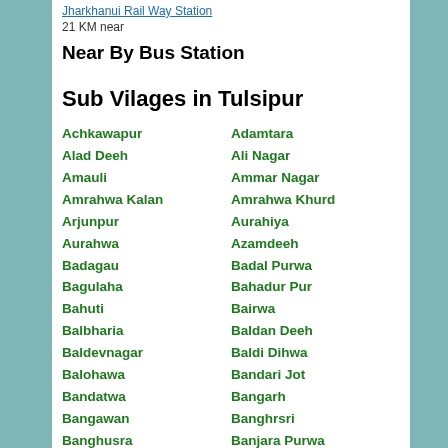Jharkhanui Rail Way Station  21 KM near
Near By Bus Station
Sub Vilages in Tulsipur
Achkawapur
Adamtara
Alad Deeh
Ali Nagar
Amauli
Ammar Nagar
Amrahwa Kalan
Amrahwa Khurd
Arjunpur
Aurahiya
Aurahwa
Azamdeeh
Badagau
Badal Purwa
Bagulaha
Bahadur Pur
Bahuti
Bairwa
Balbharia
Baldan Deeh
Baldevnagar
Baldi Dihwa
Balohawa
Bandari Jot
Bandatwa
Bangarh
Bangawan
Banghrsri
Banghusra
Banjara Purwa
Banjaria
Banjarwa Kalan
Bankati
Bankatwa
Bankatwa Tharoo
Barahana
Barahara
Barahinagar
Bargadahi
Bargadha Sohna
Bargadhi
Bargadwa
Bargadwasaif
Bargaun
Barhai Purwa
Barki Madrahiya
Barwa Kewalpur
Basahwa
Bazaideeh
Bedmau